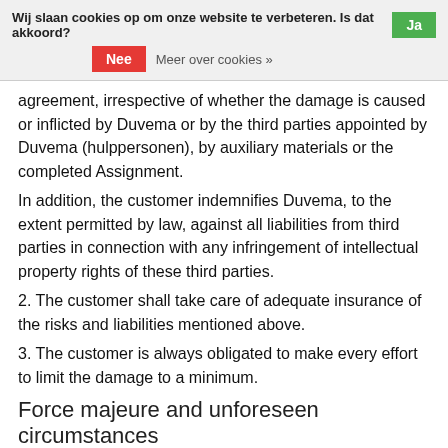Wij slaan cookies op om onze website te verbeteren. Is dat akkoord? Ja Nee Meer over cookies »
agreement, irrespective of whether the damage is caused or inflicted by Duvema or by the third parties appointed by Duvema (hulppersonen), by auxiliary materials or the completed Assignment.
In addition, the customer indemnifies Duvema, to the extent permitted by law, against all liabilities from third parties in connection with any infringement of intellectual property rights of these third parties.
2. The customer shall take care of adequate insurance of the risks and liabilities mentioned above.
3. The customer is always obligated to make every effort to limit the damage to a minimum.
Force majeure and unforeseen circumstances
1. In case compliance by Duvema or the purchase by the